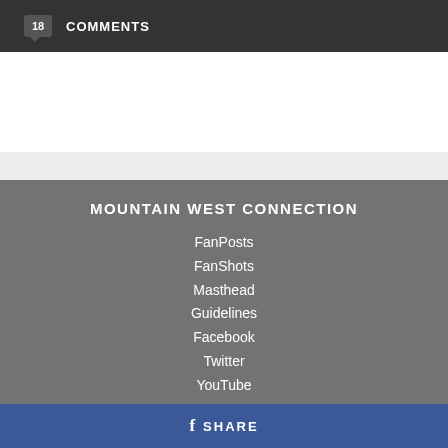18 COMMENTS
MOUNTAIN WEST CONNECTION
FanPosts
FanShots
Masthead
Guidelines
Facebook
Twitter
YouTube
f SHARE